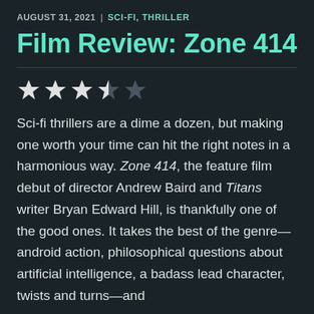AUGUST 31, 2021 | SCI-FI, THRILLER
Film Review: Zone 414
[Figure (other): Star rating: 3.5 out of 5 stars (3 full stars, 1 half star, 1 empty star)]
Sci-fi thrillers are a dime a dozen, but making one worth your time can hit the right notes in a harmonious way. Zone 414, the feature film debut of director Andrew Baird and Titans writer Bryan Edward Hill, is thankfully one of the good ones. It takes the best of the genre—android action, philosophical questions about artificial intelligence, a badass lead character, twists and turns—and